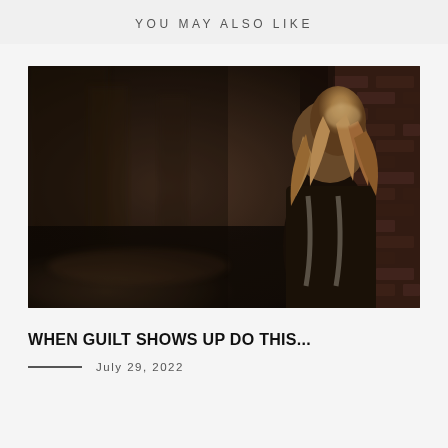YOU MAY ALSO LIKE
[Figure (photo): A woman with blonde hair, seen from the side/back, leaning against a brick wall in a dark corridor. She is wearing a jacket with straps. The background is blurred and dark.]
WHEN GUILT SHOWS UP DO THIS...
July 29, 2022